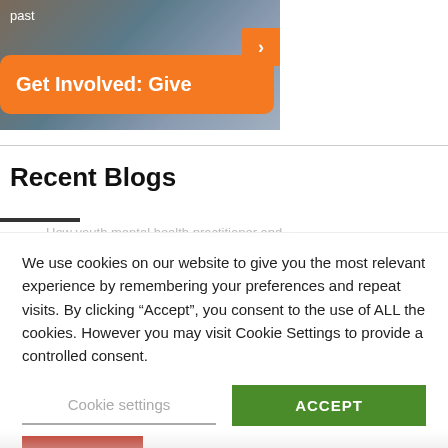[Figure (photo): Photo of clothing items, partially visible at top of page with orange navigation button]
Get Involved: Give
Recent Blogs
We use cookies on our website to give you the most relevant experience by remembering your preferences and repeat visits. By clicking “Accept”, you consent to the use of ALL the cookies. However you may visit Cookie Settings to provide a controlled consent.
Cookie settings
ACCEPT
REJECT